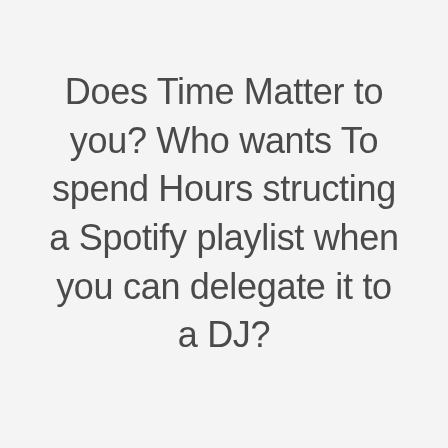Does Time Matter to you? Who wants To spend Hours structing a Spotify playlist when you can delegate it to a DJ?